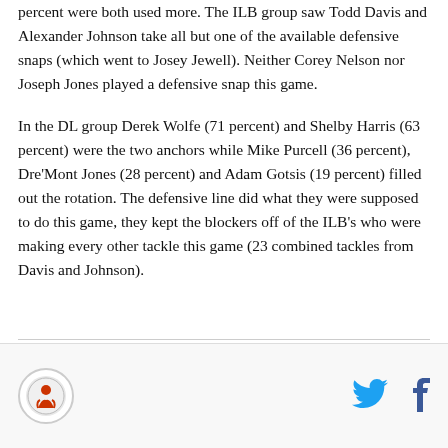percent were both used more. The ILB group saw Todd Davis and Alexander Johnson take all but one of the available defensive snaps (which went to Josey Jewell). Neither Corey Nelson nor Joseph Jones played a defensive snap this game.
In the DL group Derek Wolfe (71 percent) and Shelby Harris (63 percent) were the two anchors while Mike Purcell (36 percent), Dre'Mont Jones (28 percent) and Adam Gotsis (19 percent) filled out the rotation. The defensive line did what they were supposed to do this game, they kept the blockers off of the ILB's who were making every other tackle this game (23 combined tackles from Davis and Johnson).
Site logo with Twitter and Facebook social icons